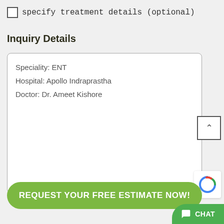specify treatment details (optional)
Inquiry Details
Speciality: ENT
Hospital: Apollo Indraprastha
Doctor: Dr. Ameet Kishore
REQUEST YOUR FREE ESTIMATE NOW!
CHAT